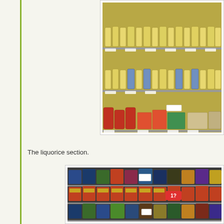[Figure (photo): Grocery store refrigerated shelf section with bottles of yellow/cream-colored beverages (likely juice or dairy), and lower shelves with canned goods, boxes, and produce items such as papaya. Multiple shelf levels visible.]
The liquorice section.
[Figure (photo): Grocery store shelves stocked with numerous bags of liquorice and candy products. Multiple shelf levels visible with colorful packaging. A red price tag showing '1?' is visible in the middle section.]